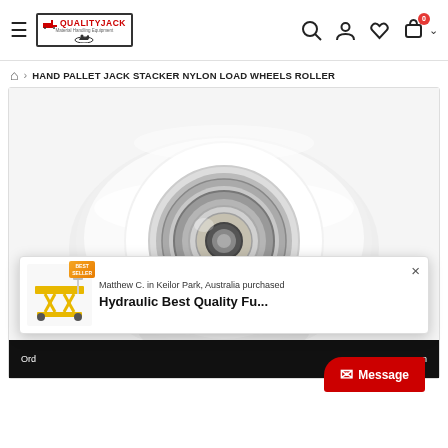[Figure (screenshot): QualityJack website header with hamburger menu, logo, and navigation icons (search, user, wishlist, cart with 0 badge)]
⌂ > HAND PALLET JACK STACKER NYLON LOAD WHEELS ROLLER
[Figure (photo): White nylon roller wheel with metal bearing/hub visible from the front, product photo on white background]
[Figure (screenshot): Popup notification: Matthew C. in Keilor Park, Australia purchased Hydraulic Best Quality Fu... with best seller badge and product image of yellow hydraulic table]
Matthew C. in Keilor Park, Australia purchased
Hydraulic Best Quality Fu...
Ord on
✉ Message